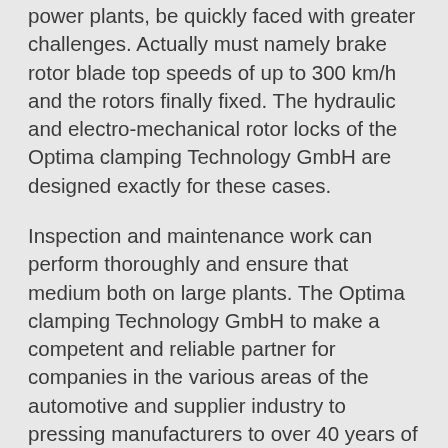power plants, be quickly faced with greater challenges. Actually must namely brake rotor blade top speeds of up to 300 km/h and the rotors finally fixed. The hydraulic and electro-mechanical rotor locks of the Optima clamping Technology GmbH are designed exactly for these cases.
Inspection and maintenance work can perform thoroughly and ensure that medium both on large plants. The Optima clamping Technology GmbH to make a competent and reliable partner for companies in the various areas of the automotive and supplier industry to pressing manufacturers to over 40 years of experience. As a leading provider of Clamping systems for forming presses and special machinery now embarks on new terrain Optima and flexes the broad expertise in the pioneering field of hydraulic and electro-mechanical rotor locking systems for wind